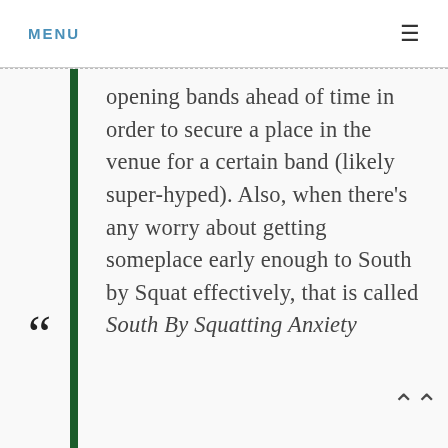MENU
opening bands ahead of time in order to secure a place in the venue for a certain band (likely super-hyped). Also, when there's any worry about getting someplace early enough to South by Squat effectively, that is called South By Squatting Anxiety